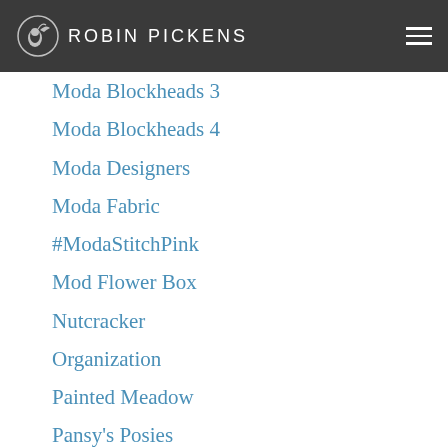ROBIN PICKENS
Moda Blockheads 3
Moda Blockheads 4
Moda Designers
Moda Fabric
#ModaStitchPink
Mod Flower Box
Nutcracker
Organization
Painted Meadow
Pansy's Posies
Pattern Play
Poppy Mae Fabric
Press
Project Jelly Roll
Quilt Books
Quilt Borders
Quilting